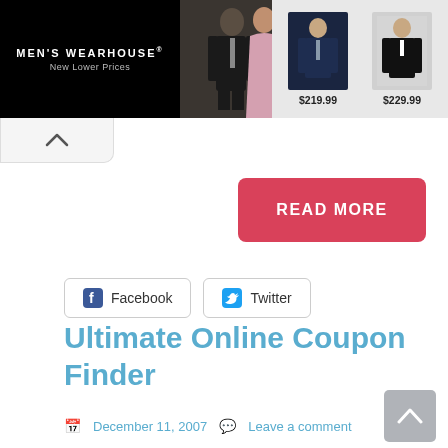[Figure (screenshot): Men's Wearhouse advertisement banner showing a couple in formal wear and two suit product images priced at $219.99 and $229.99]
[Figure (other): Tab with upward chevron arrow]
[Figure (other): Red READ MORE button]
[Figure (other): Facebook and Twitter social share buttons]
Ultimate Online Coupon Finder
December 11, 2007   Leave a comment